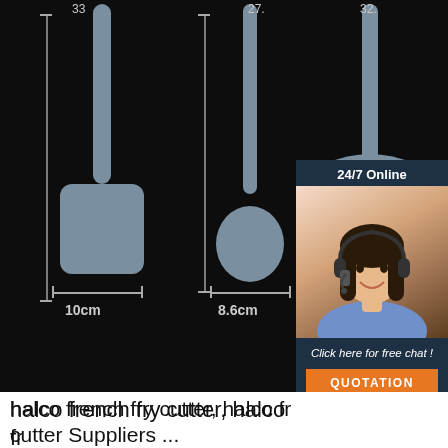[Figure (photo): Product photo of three silicone kitchen utensils (spatula, ladle/spoon, slotted spatula) on dark background with dimensions labeled: 33cm height, 27.5cm height, 32.5cm height; 10cm width, 8.6cm width. Overlaid with a 24/7 online customer service chat widget showing a woman with a headset, 'Click here for free chat!' and QUOTATION button.]
halco french fry cutter, halco french fry cutter Suppliers ...
Cutter French Factory Hot Selling Potato Strip Cutter Vegetable Style Shaper French Fries Cut Potato Knife. US $0.70-$1.00 Set. ... Multifunctional kitchen stainless steel potato chipper french fry cutter. US $9.00-$11.50 Set. ...